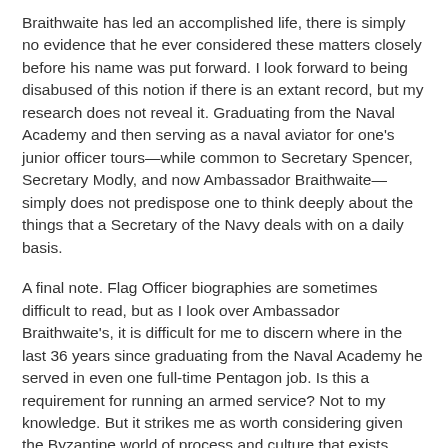Braithwaite has led an accomplished life, there is simply no evidence that he ever considered these matters closely before his name was put forward. I look forward to being disabused of this notion if there is an extant record, but my research does not reveal it. Graduating from the Naval Academy and then serving as a naval aviator for one's junior officer tours—while common to Secretary Spencer, Secretary Modly, and now Ambassador Braithwaite—simply does not predispose one to think deeply about the things that a Secretary of the Navy deals with on a daily basis.
A final note. Flag Officer biographies are sometimes difficult to read, but as I look over Ambassador Braithwaite's, it is difficult for me to discern where in the last 36 years since graduating from the Naval Academy he served in even one full-time Pentagon job. Is this a requirement for running an armed service? Not to my knowledge. But it strikes me as worth considering given the Byzantine world of process and culture that exists there.
I urge the members of the Senate Armed Services Committee to exert their influence in this situation. They